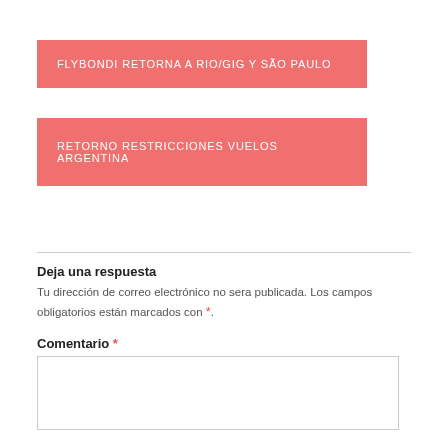FLYBONDI RETORNA A RIO/GIG Y SÃO PAULO
RETORNO RESTRICCIONES VUELOS ARGENTINA
Deja una respuesta
Tu dirección de correo electrónico no sera publicada. Los campos obligatorios están marcados con *.
Comentario *